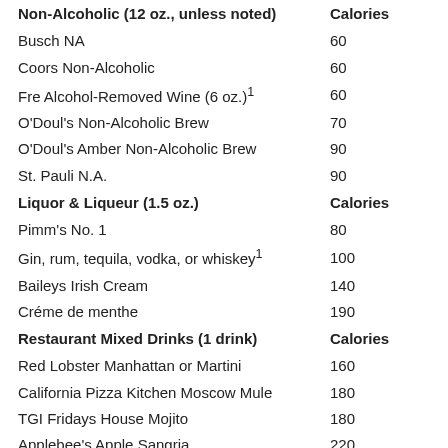| Non-Alcoholic (12 oz., unless noted) | Calories |
| --- | --- |
| Busch NA | 60 |
| Coors Non-Alcoholic | 60 |
| Fre Alcohol-Removed Wine (6 oz.)¹ | 60 |
| O'Doul's Non-Alcoholic Brew | 70 |
| O'Doul's Amber Non-Alcoholic Brew | 90 |
| St. Pauli N.A. | 90 |
| Liquor & Liqueur (1.5 oz.) | Calories |
| Pimm's No. 1 | 80 |
| Gin, rum, tequila, vodka, or whiskey¹ | 100 |
| Baileys Irish Cream | 140 |
| Créme de menthe | 190 |
| Restaurant Mixed Drinks (1 drink) | Calories |
| Red Lobster Manhattan or Martini | 160 |
| California Pizza Kitchen Moscow Mule | 180 |
| TGI Fridays House Mojito | 180 |
| Applebee's Apple Sangria | 220 |
| Red Robin House Margarita | 220 |
| Olive Garden Peach Sangria | 230 |
| Uno Classic Mojito | 240 |
| Applebee's Blackberry Sangria | 270 |
| Yard House Moscow Mule | 280 |
| Applebee's Perfect Patrón Margarita | 290 |